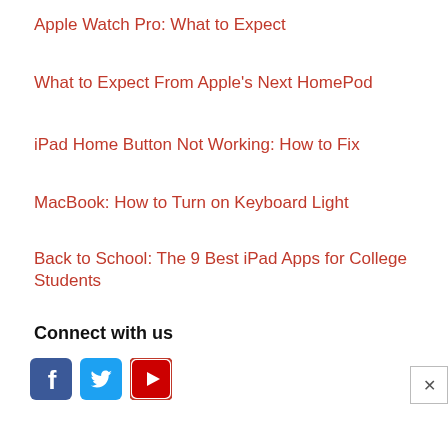Apple Watch Pro: What to Expect
What to Expect From Apple’s Next HomePod
iPad Home Button Not Working: How to Fix
MacBook: How to Turn on Keyboard Light
Back to School: The 9 Best iPad Apps for College Students
Connect with us
[Figure (infographic): Social media icons: Facebook (blue), Twitter (light blue), YouTube (red with play button)]